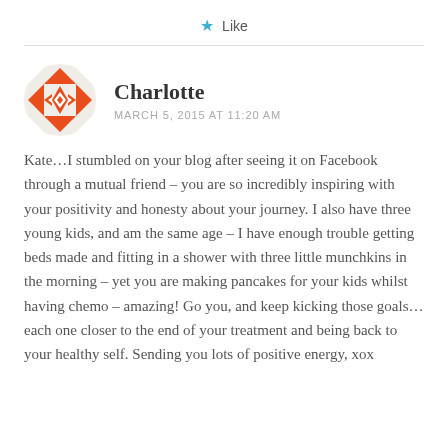★ Like
[Figure (illustration): Circular avatar with orange/red geometric diamond and triangle pattern on white background]
Charlotte
MARCH 5, 2015 AT 11:20 AM
Kate…I stumbled on your blog after seeing it on Facebook through a mutual friend – you are so incredibly inspiring with your positivity and honesty about your journey. I also have three young kids, and am the same age – I have enough trouble getting beds made and fitting in a shower with three little munchkins in the morning – yet you are making pancakes for your kids whilst having chemo – amazing! Go you, and keep kicking those goals…each one closer to the end of your treatment and being back to your healthy self. Sending you lots of positive energy, xox